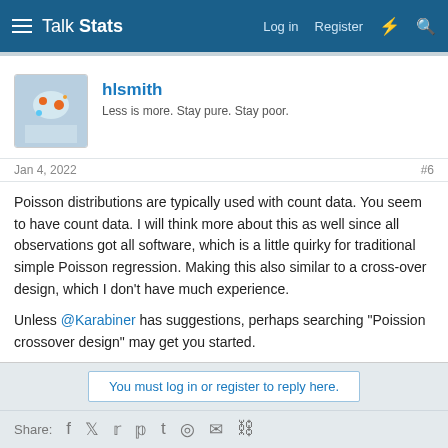Talk Stats — Log in  Register
hlsmith
Less is more. Stay pure. Stay poor.
Jan 4, 2022  #6
Poisson distributions are typically used with count data. You seem to have count data. I will think more about this as well since all observations got all software, which is a little quirky for traditional simple Poisson regression. Making this also similar to a cross-over design, which I don't have much experience.

Unless @Karabiner has suggestions, perhaps searching "Poission crossover design" may get you started.
You must log in or register to reply here.
Share: